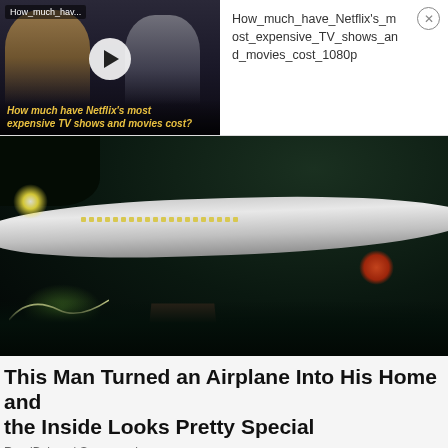[Figure (screenshot): Video thumbnail showing two people (appears to be Netflix show The Crown) with a play button overlay and text overlay reading 'How much have Netflix's most expensive TV shows and movies cost?'. Label in top-left says 'How_much_hav...']
How_much_have_Netflix's_most_expensive_TV_shows_and_movies_cost_1080p
[Figure (photo): Night photograph of a Boeing 727 airplane converted into a home/residence, lit up at night with exterior lights, surrounded by trees and landscaping. Lights visible including white landing light and red light.]
This Man Turned an Airplane Into His Home and the Inside Looks Pretty Special
ReadBakery | Sponsored
[Figure (photo): Bottom-left thumbnail: colorful image, appears pinkish/orange tones]
[Figure (photo): Bottom-right thumbnail: dark bluish/forest tones with figures visible]